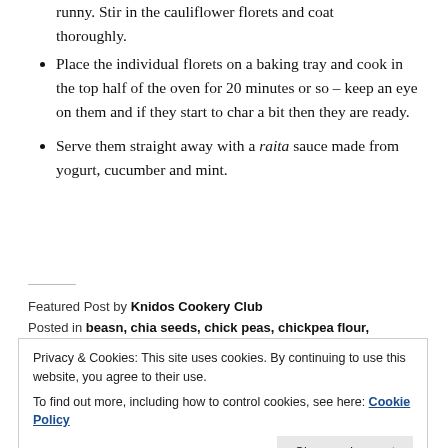runny. Stir in the cauliflower florets and coat thoroughly.
Place the individual florets on a baking tray and cook in the top half of the oven for 20 minutes or so – keep an eye on them and if they start to char a bit then they are ready.
Serve them straight away with a raita sauce made from yogurt, cucumber and mint.
Featured Post by Knidos Cookery Club
Posted in beasn, chia seeds, chick peas, chickpea flour, chickpeas, chilli, cucumber, cumin, ginger, gram, Hasty tasty, India, Indian cooking, Pakoda, Pakora, Plant-based cookery,
Privacy & Cookies: This site uses cookies. By continuing to use this website, you agree to their use.
To find out more, including how to control cookies, see here: Cookie Policy
snack, turmeric, Vegan, Vegetables, Vegetarian, yogurt